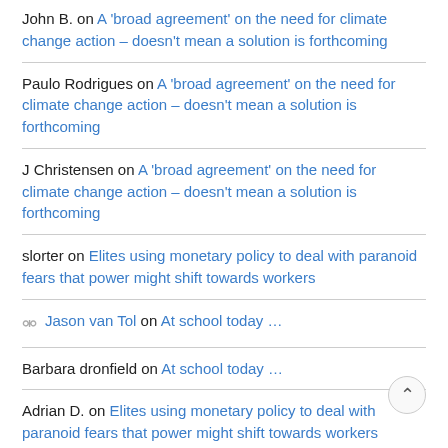John B. on A 'broad agreement' on the need for climate change action – doesn't mean a solution is forthcoming
Paulo Rodrigues on A 'broad agreement' on the need for climate change action – doesn't mean a solution is forthcoming
J Christensen on A 'broad agreement' on the need for climate change action – doesn't mean a solution is forthcoming
slorter on Elites using monetary policy to deal with paranoid fears that power might shift towards workers
Jason van Tol on At school today ...
Barbara dronfield on At school today ...
Adrian D. on Elites using monetary policy to deal with paranoid fears that power might shift towards workers
Recent Posts